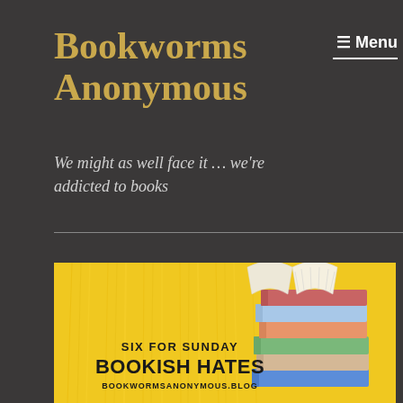Bookworms Anonymous
☰ Menu
We might as well face it … we're addicted to books
[Figure (illustration): Blog banner image with yellow/golden background showing a stack of colorful books with an open book on top, with text overlay reading 'SIX FOR SUNDAY BOOKISH HATES BOOKWORMSANONYMOUS.BLOG']